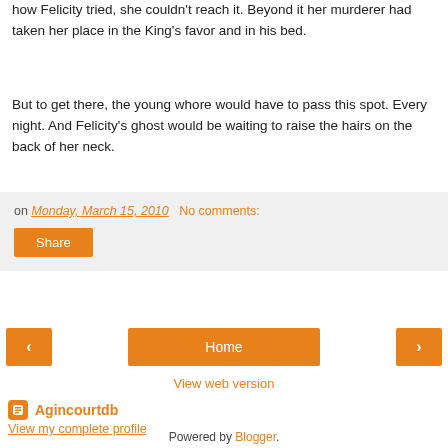how Felicity tried, she couldn't reach it. Beyond it her murderer had taken her place in the King's favor and in his bed.
But to get there, the young whore would have to pass this spot. Every night. And Felicity's ghost would be waiting to raise the hairs on the back of her neck.
on Monday, March 15, 2010   No comments:
Share
Home
View web version
Agincourtdb
View my complete profile
Powered by Blogger.